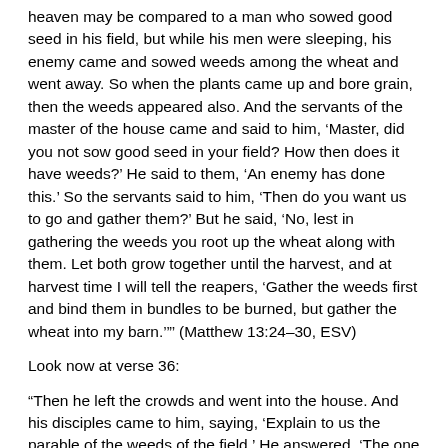heaven may be compared to a man who sowed good seed in his field, but while his men were sleeping, his enemy came and sowed weeds among the wheat and went away. So when the plants came up and bore grain, then the weeds appeared also. And the servants of the master of the house came and said to him, ‘Master, did you not sow good seed in your field? How then does it have weeds?’ He said to them, ‘An enemy has done this.’ So the servants said to him, ‘Then do you want us to go and gather them?’ But he said, ‘No, lest in gathering the weeds you root up the wheat along with them. Let both grow together until the harvest, and at harvest time I will tell the reapers, ‘Gather the weeds first and bind them in bundles to be burned, but gather the wheat into my barn.’”’ (Matthew 13:24–30, ESV)
Look now at verse 36:
“Then he left the crowds and went into the house. And his disciples came to him, saying, ‘Explain to us the parable of the weeds of the field.’ He answered, ‘The one who sows the good seed is the Son of Man. The field is the world, and the good seed is the sons of the kingdom. The weeds are the sons of the evil one, and the enemy who sowed them is the devil. The harvest is the end of the age, and the reapers are angels. Just as the weeds are gathered and burned with fire, so will it be at the end of the age. The Son of Man will send his angels...